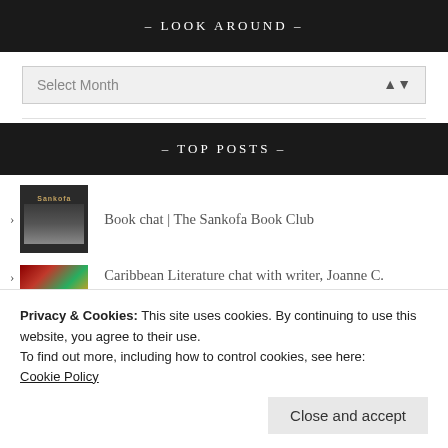– LOOK AROUND –
Select Month
– TOP POSTS –
Book chat | The Sankofa Book Club
Caribbean Literature chat with writer, Joanne C. Hillhouse
Privacy & Cookies: This site uses cookies. By continuing to use this website, you agree to their use.
To find out more, including how to control cookies, see here:
Cookie Policy
Close and accept